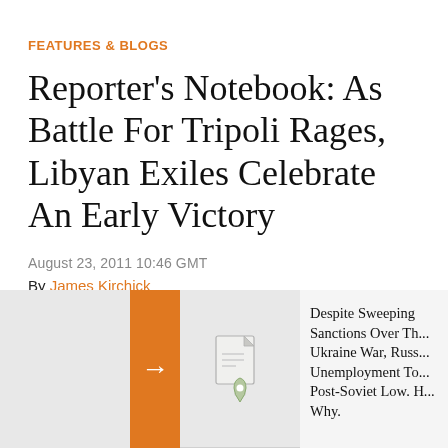FEATURES & BLOGS
Reporter's Notebook: As Battle For Tripoli Rages, Libyan Exiles Celebrate An Early Victory
August 23, 2011 10:46 GMT
By James Kirchick
Despite Sweeping Sanctions Over The Ukraine War, Russia's Unemployment Touched Post-Soviet Low. Here's Why.